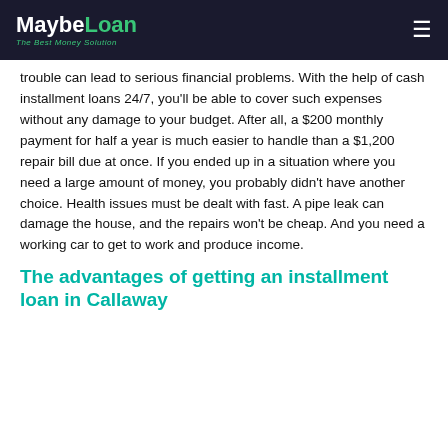MaybeLoan — The Best Money Solution
trouble can lead to serious financial problems. With the help of cash installment loans 24/7, you'll be able to cover such expenses without any damage to your budget. After all, a $200 monthly payment for half a year is much easier to handle than a $1,200 repair bill due at once. If you ended up in a situation where you need a large amount of money, you probably didn't have another choice. Health issues must be dealt with fast. A pipe leak can damage the house, and the repairs won't be cheap. And you need a working car to get to work and produce income.
The advantages of getting an installment loan in Callaway